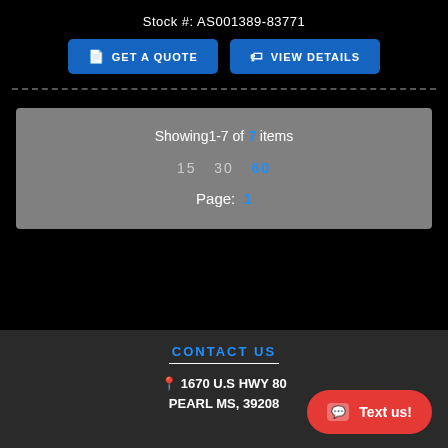Stock #: AS001389-83771
Get a Quote | View Details
Showing 1-7 of 7 items
15  30  60
Page: 1
CONTACT US
1670 U.S HWY 80
PEARL MS, 39208
Text us!